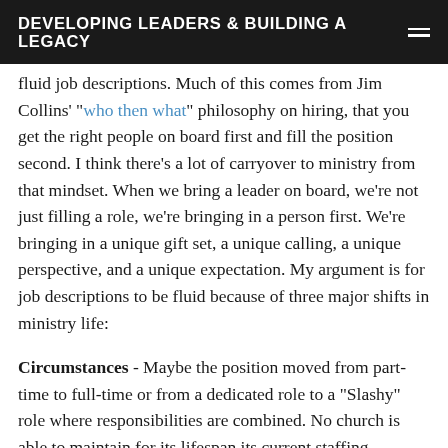DEVELOPING LEADERS & BUILDING A LEGACY
fluid job descriptions. Much of this comes from Jim Collins' "who then what" philosophy on hiring, that you get the right people on board first and fill the position second. I think there's a lot of carryover to ministry from that mindset. When we bring a leader on board, we're not just filling a role, we're bringing in a person first. We're bringing in a unique gift set, a unique calling, a unique perspective, and a unique expectation. My argument is for job descriptions to be fluid because of three major shifts in ministry life:
Circumstances - Maybe the position moved from part-time to full-time or from a dedicated role to a "Slashy" role where responsibilities are combined. No church is able to maintain for its lifespan its current staffing structure. It's just not possible. Ministries grow or shrink, financial health changes, leadership philosophy